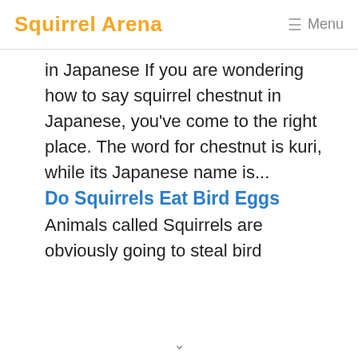Squirrel Arena  ☰ Menu
in Japanese If you are wondering how to say squirrel chestnut in Japanese, you've come to the right place. The word for chestnut is kuri, while its Japanese name is...
Do Squirrels Eat Bird Eggs
Animals called Squirrels are obviously going to steal bird